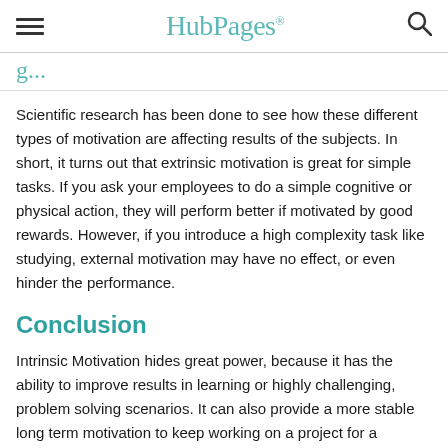HubPages
g...
Scientific research has been done to see how these different types of motivation are affecting results of the subjects. In short, it turns out that extrinsic motivation is great for simple tasks. If you ask your employees to do a simple cognitive or physical action, they will perform better if motivated by good rewards. However, if you introduce a high complexity task like studying, external motivation may have no effect, or even hinder the performance.
Conclusion
Intrinsic Motivation hides great power, because it has the ability to improve results in learning or highly challenging, problem solving scenarios. It can also provide a more stable long term motivation to keep working on a project for a